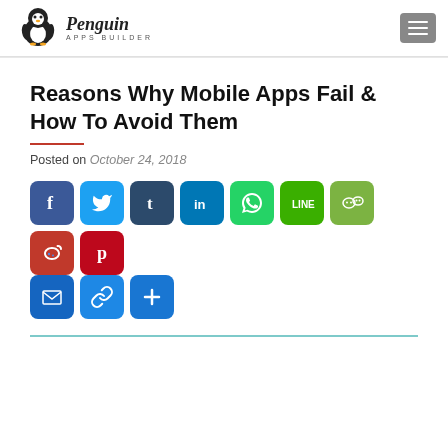Penguin Apps Builder — navigation header
Reasons Why Mobile Apps Fail & How To Avoid Them
Posted on October 24, 2018
[Figure (other): Social share buttons: Facebook, Twitter, Tumblr, LinkedIn, WhatsApp, LINE, WeChat, Weibo, Pinterest, Email, Copy Link, More]